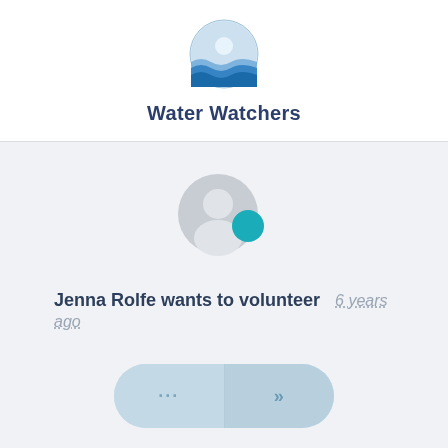[Figure (logo): Water Watchers circular logo with wave and sun design in blue tones]
Water Watchers
[Figure (illustration): Gray user avatar silhouette with teal/cyan notification dot badge overlaid on bottom right]
Jenna Rolfe wants to volunteer   6 years ago
[Figure (other): A pill-shaped button group with two sections: left showing ellipsis '...' and right showing double chevron '>>']